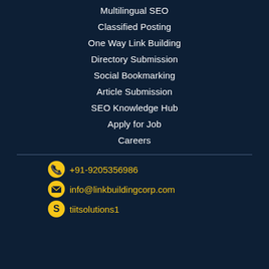Multilingual SEO
Classified Posting
One Way Link Building
Directory Submission
Social Bookmarking
Article Submission
SEO Knowledge Hub
Apply for Job
Careers
+91-9205356986
info@linkbuildingcorp.com
tiitsolutions1